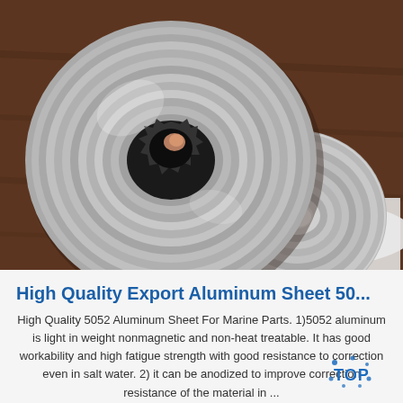[Figure (photo): Two large aluminum coil rolls (5052 alloy) resting on a brown wooden surface. The left roll is larger with a jagged center hole revealing a dark interior, and the right roll is smaller, partially on white paper, showing a smooth metallic surface with circular grooves.]
High Quality Export Aluminum Sheet 50...
High Quality 5052 Aluminum Sheet For Marine Parts. 1)5052 aluminum is light in weight nonmagnetic and non-heat treatable. It has good workability and high fatigue strength with good resistance to correction even in salt water. 2) it can be anodized to improve correction resistance of the material in ...